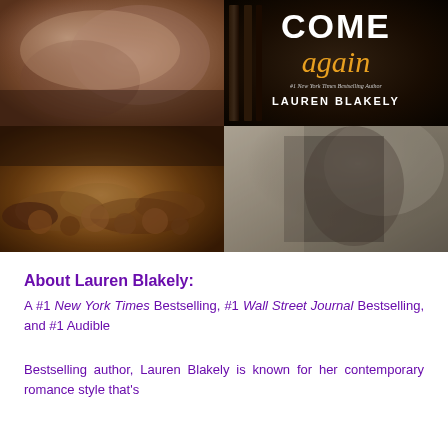[Figure (photo): Book cover collage for 'Come Again' by Lauren Blakely. Top-left: intimate romantic couple photo. Top-right: book cover with title 'COME again' in white and gold on dark background with author name Lauren Blakely. Bottom-left: chocolates and confections at a market stall. Bottom-right: man in suit adjusting his tie.]
About Lauren Blakely:
A #1 New York Times Bestselling, #1 Wall Street Journal Bestselling, and #1 Audible
Bestselling author, Lauren Blakely is known for her contemporary romance style that's